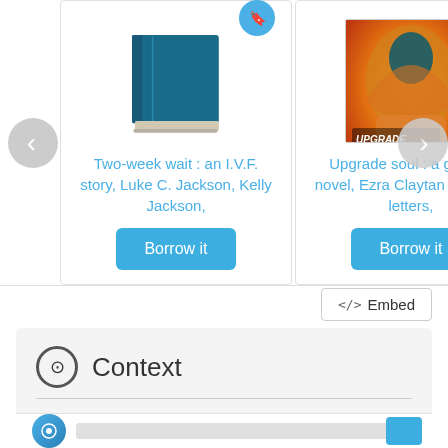[Figure (screenshot): Library website carousel showing two book items. Left card: a generic blue book icon with bookmark, titled 'Two-week wait : an I.V.F. story, Luke C. Jackson, Kelly Jackson,' with a 'Borrow it' button. Right card: 'Upgrade Soul: a graphic novel' cover art with orange/red figure, by Ezra Claytan Daniels; letters, with a 'Borrow it' button. Navigation arrows on left and right sides.]
Two-week wait : an I.V.F. story, Luke C. Jackson, Kelly Jackson,
Borrow it
Upgrade soul : a graphic novel, Ezra Claytan Daniels ; letters,
Borrow it
</> Embed
Context
Subject of